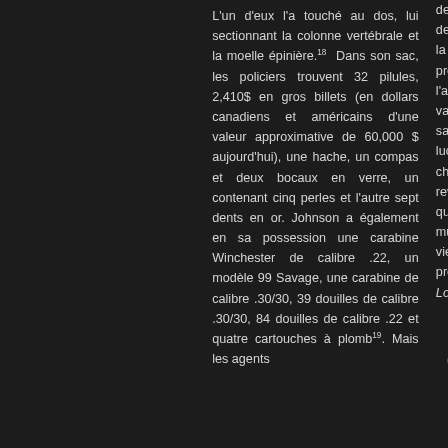L'un d'eux l'a touché au dos, lui sectionnant la colonne vertébrale et la moelle épinière.18 Dans son sac, les policiers trouvent 32 pilules, 2,410$ en gros billets (en dollars canadiens et américains d'une valeur approximative de 60,000 $ aujourd'hui), une hache, un compas et deux bocaux en verre, un contenant cinq perles et l'autre sept dents en or. Johnson a également en sa possession une carabine Winchester de calibre .22, un modèle 99 Savage, une carabine de calibre .30/30, 39 douilles de calibre .30/30, 84 douilles de calibre .22 et quatre cartouches à plomb19. Mais les agents
devant le des année la fonte premières l'automne, va explor sauvages lucrative c chaque a revient a quantités murmure vieux p probablem Lost Creek